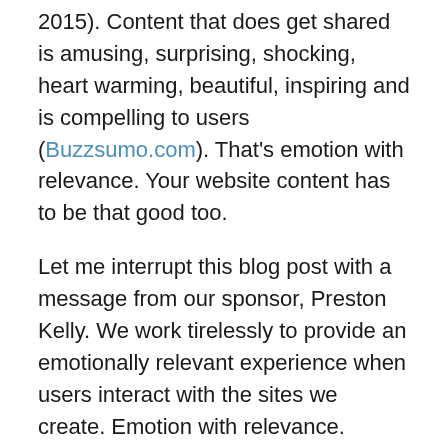2015). Content that does get shared is amusing, surprising, shocking, heart warming, beautiful, inspiring and is compelling to users (Buzzsumo.com). That's emotion with relevance. Your website content has to be that good too.
Let me interrupt this blog post with a message from our sponsor, Preston Kelly. We work tirelessly to provide an emotionally relevant experience when users interact with the sites we create. Emotion with relevance. Surprise and delight. That requires relevance to the user and emotions appropriate for the brand. See what you think of these examples and consider building these kinds of emotions and beliefs on your own site.